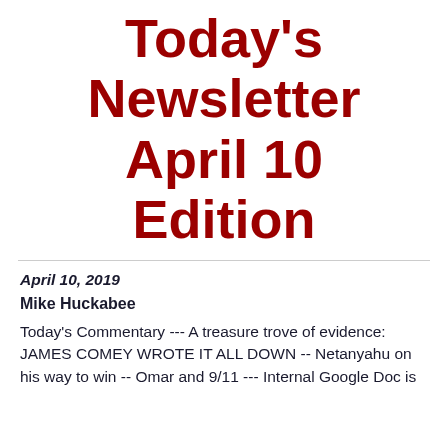Today's Newsletter April 10 Edition
April 10, 2019
Mike Huckabee
Today's Commentary --- A treasure trove of evidence: JAMES COMEY WROTE IT ALL DOWN -- Netanyahu on his way to win -- Omar and 9/11 --- Internal Google Doc is